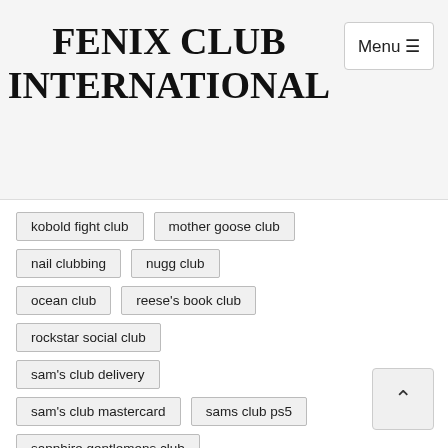FENIX CLUB INTERNATIONAL
kobold fight club
mother goose club
nail clubbing
nugg club
ocean club
reese's book club
rockstar social club
sam's club delivery
sam's club mastercard
sams club ps5
sapphire gentlemens club
smile direct club
social club
sport club
strip club porn
supper club
the club